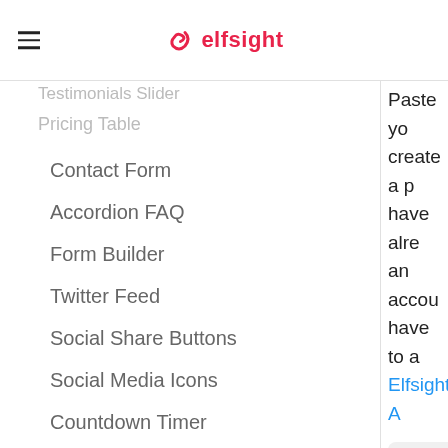elfsight
Pricing Table
Contact Form
Accordion FAQ
Form Builder
Twitter Feed
Social Share Buttons
Social Media Icons
Countdown Timer
BigCommerce Configuration
Paste yo create a p have alre an accou have to a Elfsight A
[Figure (screenshot): Screenshot of Elfsight apps page with purple background showing 'Apps to busi' text and search bar]
Subscrib